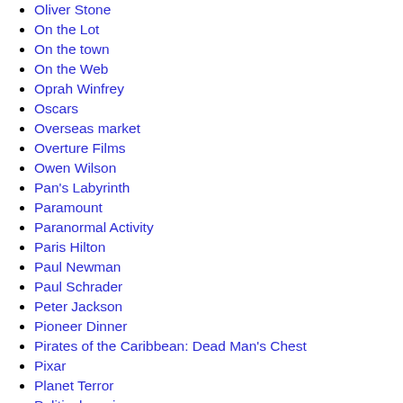Oliver Stone
On the Lot
On the town
On the Web
Oprah Winfrey
Oscars
Overseas market
Overture Films
Owen Wilson
Pan's Labyrinth
Paramount
Paranormal Activity
Paris Hilton
Paul Newman
Paul Schrader
Peter Jackson
Pioneer Dinner
Pirates of the Caribbean: Dead Man's Chest
Pixar
Planet Terror
Political movies
PR
Presidential Election
Producers
Product Placement